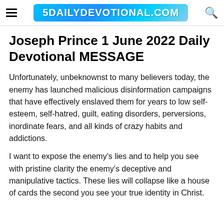5DAILYDEVOTIONAL.COM
Joseph Prince 1 June 2022 Daily Devotional MESSAGE
Unfortunately, unbeknownst to many believers today, the enemy has launched malicious disinformation campaigns that have effectively enslaved them for years to low self-esteem, self-hatred, guilt, eating disorders, perversions, inordinate fears, and all kinds of crazy habits and addictions.
I want to expose the enemy's lies and to help you see with pristine clarity the enemy's deceptive and manipulative tactics. These lies will collapse like a house of cards the second you see your true identity in Christ.